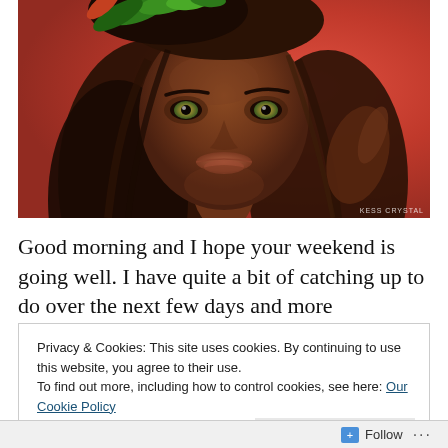[Figure (illustration): Digital illustration of a woman with dark brown skin, hazel/green eyes, long brown hair, wearing a floral/leaf crown, against a red background. Watermark reads 'KESS CRYSTAL' in bottom right.]
Good morning and I hope your weekend is going well. I have quite a bit of catching up to do over the next few days and more
Privacy & Cookies: This site uses cookies. By continuing to use this website, you agree to their use.
To find out more, including how to control cookies, see here: Our Cookie Policy
Close and accept
Follow